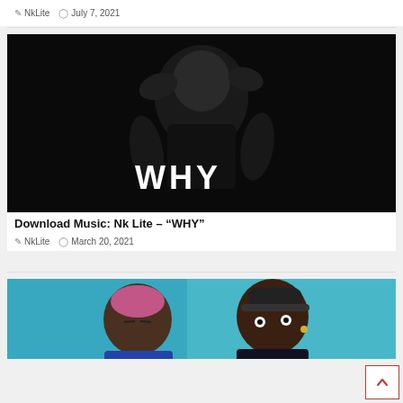NkLite  July 7, 2021
[Figure (photo): Black and white photo of a person with hands near head, with text WHY on shirt]
Download Music: Nk Lite – "WHY"
NkLite  March 20, 2021
[Figure (photo): Two men with colorful background, partial view]